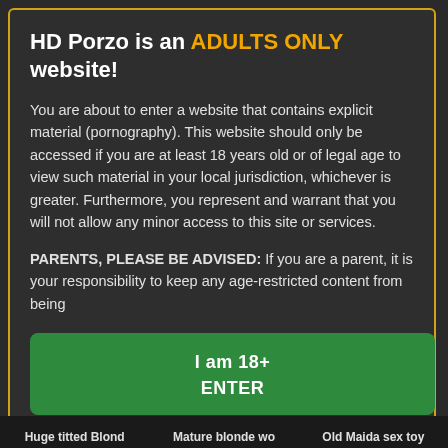HD Porzo is an ADULTS ONLY website!
You are about to enter a website that contains explicit material (pornography). This website should only be accessed if you are at least 18 years old or of legal age to view such material in your local jurisdiction, whichever is greater. Furthermore, you represent and warrant that you will not allow any minor access to this site or services.
PARENTS, PLEASE BE ADVISED: If you are a parent, it is your responsibility to keep any age-restricted content from being
I am 18+
ENTER
When accessing this site you agree to our terms of use.
Huge titted Blond   Mature blonde wo   Old Maida sex toy